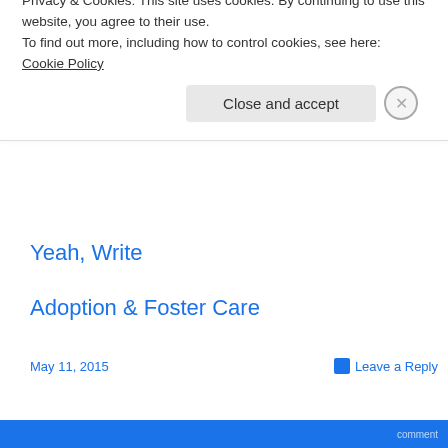I've mentioned these two before and I am actually friends with them (go me!):
Yeah, Write
Adoption & Foster Care
May 11, 2015
Leave a Reply
Privacy & Cookies: This site uses cookies. By continuing to use this website, you agree to their use.
To find out more, including how to control cookies, see here: Cookie Policy
Close and accept